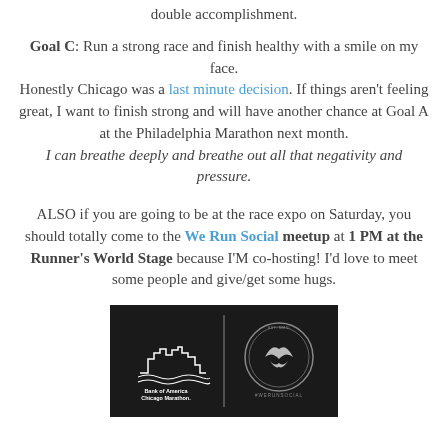double accomplishment.
Goal C: Run a strong race and finish healthy with a smile on my face.
Honestly Chicago was a last minute decision. If things aren't feeling great, I want to finish strong and will have another chance at Goal A at the Philadelphia Marathon next month.
I can breathe deeply and breathe out all that negativity and pressure.
ALSO if you are going to be at the race expo on Saturday, you should totally come to the We Run Social meetup at 1 PM at the Runner's World Stage because I'M co-hosting! I'd love to meet some people and give/get some hugs.
[Figure (logo): Bank of America Chicago Marathon and #WeRunSocial logos side by side on a dark background]